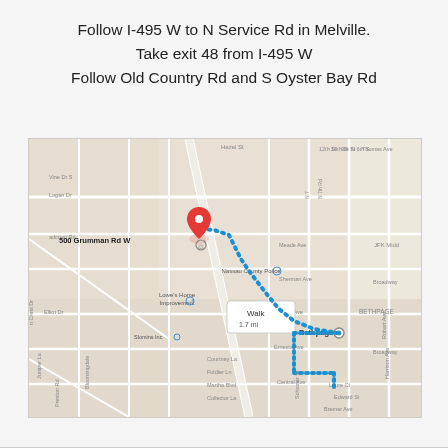Follow I-495 W to N Service Rd in Melville. Take exit 48 from I-495 W
Follow Old Country Rd and S Oyster Bay Rd
[Figure (map): Google Maps screenshot showing a walking route (dotted blue line, 1.7 mi) from Bethpage train station area to 500 Grumman Rd W, Bethpage, NY. The route goes northwest along streets, passing Nassau County Police and Lowe's Home Improvement. A 'Walk 1.7 mi' callout is shown mid-route.]